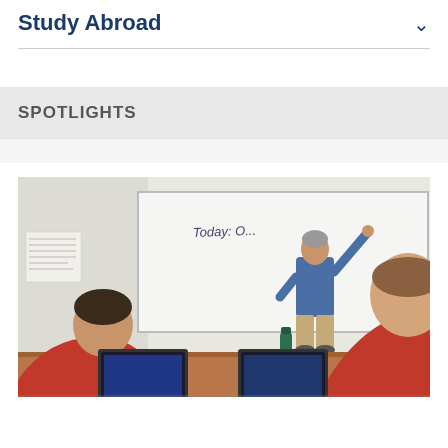Study Abroad
SPOTLIGHTS
[Figure (photo): A classroom scene viewed from behind students sitting at a table with laptops open. A male instructor in a blue shirt stands at a whiteboard writing on it. Students in red and blue hoodies are visible in the foreground.]